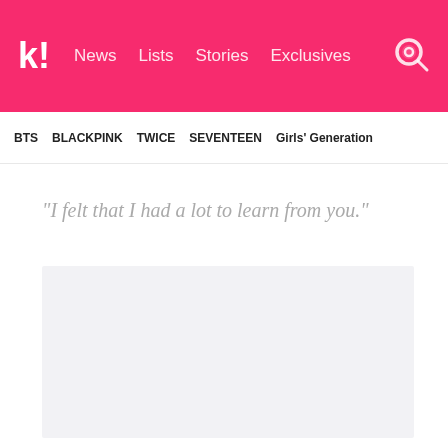K! News Lists Stories Exclusives
BTS  BLACKPINK  TWICE  SEVENTEEN  Girls' Generation
“I felt that I had a lot to learn from you.”
[Figure (photo): Light gray rectangular image placeholder area]